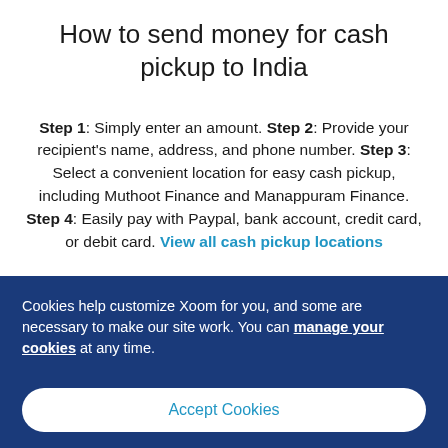How to send money for cash pickup to India
Step 1: Simply enter an amount. Step 2: Provide your recipient's name, address, and phone number. Step 3: Select a convenient location for easy cash pickup, including Muthoot Finance and Manappuram Finance. Step 4: Easily pay with Paypal, bank account, credit card, or debit card. View all cash pickup locations
Cookies help customize Xoom for you, and some are necessary to make our site work. You can manage your cookies at any time.
Accept Cookies